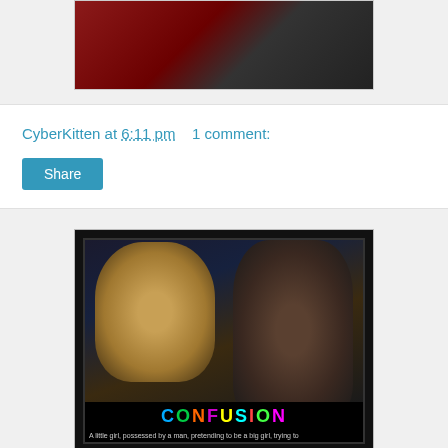[Figure (photo): Top portion of a photo with dark red/maroon background, partially visible at top of page]
CyberKitten at 6:11 pm    1 comment:
[Figure (photo): Motivational poster style image titled CONFUSION showing a blonde woman and a dark-skinned man facing each other, with colorful text at the bottom reading 'CONFUSION' and a subtitle 'A little girl, possessed by a man, pretending to be a big girl, trying to...']